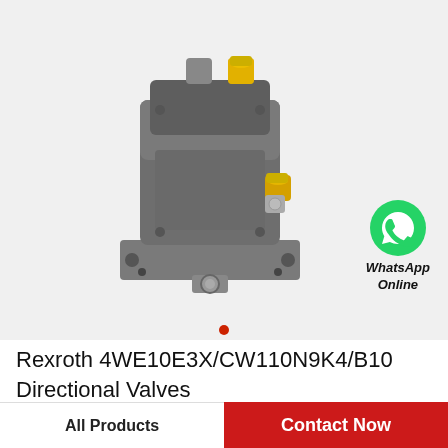[Figure (photo): Rexroth 4WE10E3X/CW110N9K4/B10 directional control valve, dark gray metal body with yellow port caps, mounted on a flat base plate with four corner bolt holes]
[Figure (logo): WhatsApp green circular icon with white phone handset, labeled 'WhatsApp Online' in bold italic text]
Rexroth 4WE10E3X/CW110N9K4/B10 Directional Valves
All Products
Contact Now